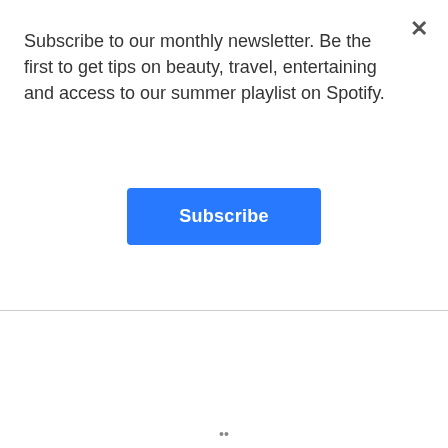×
Subscribe to our monthly newsletter. Be the first to get tips on beauty, travel, entertaining and access to our summer playlist on Spotify.
Subscribe